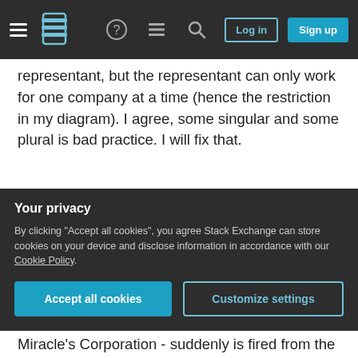Stack Exchange navigation bar with hamburger menu, logo, help, chat, search icons, Log in and Sign up buttons
representant, but the representant can only work for one company at a time (hence the restriction in my diagram). I agree, some singular and some plural is bad practice. I will fix that.
Changing the relation to more precise verb, like "represented by" (instead of "an address has representants"): from top to bottom, one can read "An address is represented by representants"; from bottom to top, it gives incorrect reading ("A representant is represented by a company"), when it should be "A representant represents a company"
Your privacy
By clicking "Accept all cookies", you agree Stack Exchange can store cookies on your device and disclose information in accordance with our Cookie Policy.
Accept all cookies | Customize settings
Miracle's Corporation - suddenly is fired from the